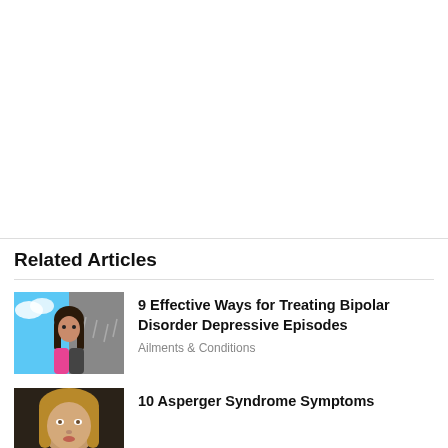Related Articles
[Figure (illustration): Illustration of a woman split in two halves — one colorful/sunny side and one dark/rainy side, representing bipolar disorder]
9 Effective Ways for Treating Bipolar Disorder Depressive Episodes
Ailments & Conditions
[Figure (photo): Photo of a blonde woman, partially visible, dark background]
10 Asperger Syndrome Symptoms